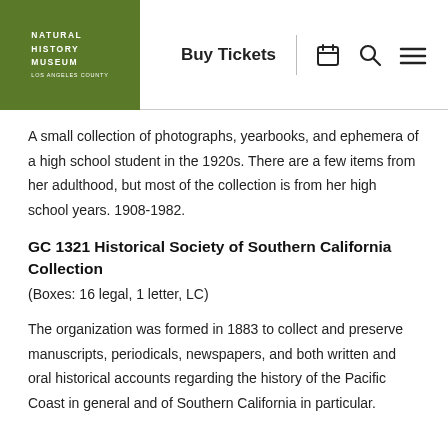NATURAL HISTORY MUSEUM LOS ANGELES COUNTY | Buy Tickets
A small collection of photographs, yearbooks, and ephemera of a high school student in the 1920s. There are a few items from her adulthood, but most of the collection is from her high school years. 1908-1982.
GC 1321 Historical Society of Southern California Collection
(Boxes: 16 legal, 1 letter, LC)
The organization was formed in 1883 to collect and preserve manuscripts, periodicals, newspapers, and both written and oral historical accounts regarding the history of the Pacific Coast in general and of Southern California in particular.